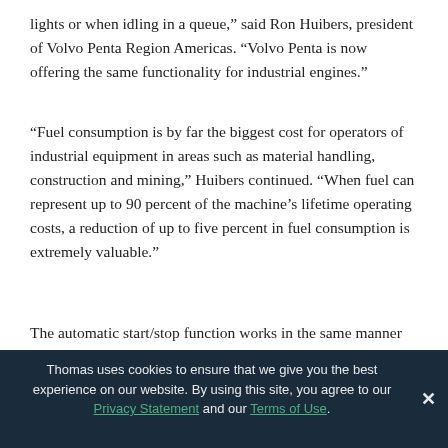lights or when idling in a queue,” said Ron Huibers, president of Volvo Penta Region Americas. “Volvo Penta is now offering the same functionality for industrial engines.”
“Fuel consumption is by far the biggest cost for operators of industrial equipment in areas such as material handling, construction and mining,” Huibers continued. “When fuel can represent up to 90 percent of the machine’s lifetime operating costs, a reduction of up to five percent in fuel consumption is extremely valuable.”
The automatic start/stop function works in the same manner
Thomas uses cookies to ensure that we give you the best experience on our website. By using this site, you agree to our Privacy Statement and our Terms of Use.